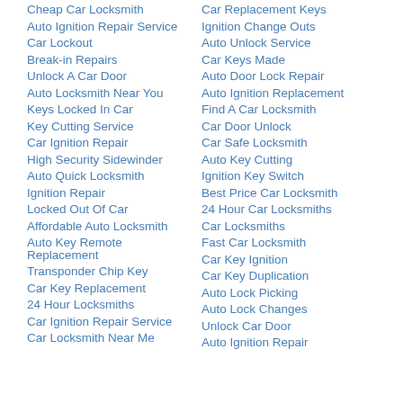Cheap Car Locksmith
Car Replacement Keys
Auto Ignition Repair Service
Ignition Change Outs
Car Lockout
Auto Unlock Service
Break-in Repairs
Car Keys Made
Unlock A Car Door
Auto Door Lock Repair
Auto Locksmith Near You
Auto Ignition Replacement
Keys Locked In Car
Find A Car Locksmith
Key Cutting Service
Car Door Unlock
Car Ignition Repair
Car Safe Locksmith
High Security Sidewinder
Auto Key Cutting
Auto Quick Locksmith
Ignition Key Switch
Ignition Repair
Best Price Car Locksmith
Locked Out Of Car
24 Hour Car Locksmiths
Affordable Auto Locksmith
Car Locksmiths
Auto Key Remote Replacement
Fast Car Locksmith
Car Key Ignition
Transponder Chip Key
Car Key Duplication
Car Key Replacement
Auto Lock Picking
24 Hour Locksmiths
Auto Lock Changes
Car Ignition Repair Service
Unlock Car Door
Car Locksmith Near Me
Auto Ignition Repair